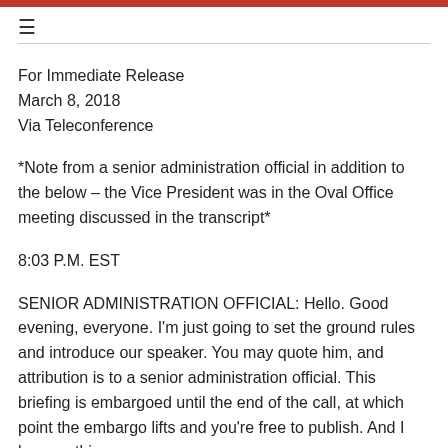≡
For Immediate Release
March 8, 2018
Via Teleconference
*Note from a senior administration official in addition to the below – the Vice President was in the Oval Office meeting discussed in the transcript*
8:03 P.M. EST
SENIOR ADMINISTRATION OFFICIAL: Hello. Good evening, everyone. I'm just going to set the ground rules and introduce our speaker. You may quote him, and attribution is to a senior administration official. This briefing is embargoed until the end of the call, at which point the embargo lifts and you're free to publish. And I have nothing